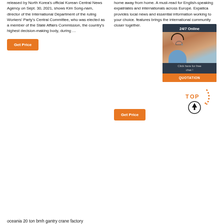released by North Korea's official Korean Central News Agency on Sept. 30, 2021, shows Kim Song-nam, director of the International Department of the ruling Workers' Party's Central Committee, who was elected as a member of the State Affairs Commission, the country's highest decision-making body, during …
home away from home. A must-read for English-speaking expatriates and internationals across Europe. Expatica provides local news and essential information working to your choice. features brings the international community closer together.
[Figure (other): Chat widget overlay showing a woman with headset, '24/7 Online' header, 'Click here for free chat!' text, and orange QUOTATION button]
Get Price
Get Price
[Figure (other): Orange dotted arrow and TOP with up-arrow circle icon for scroll to top]
oceania 20 ton bmh gantry crane factory